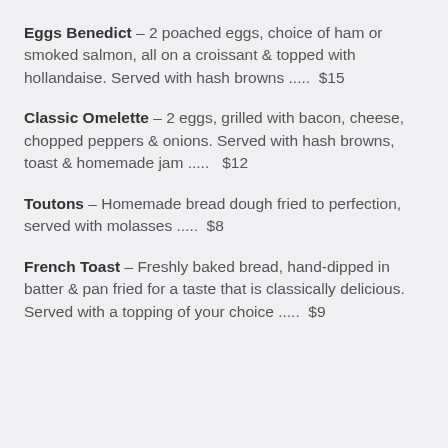Eggs Benedict – 2 poached eggs, choice of ham or smoked salmon, all on a croissant & topped with hollandaise. Served with hash browns .....  $15
Classic Omelette – 2 eggs, grilled with bacon, cheese, chopped peppers & onions. Served with hash browns, toast & homemade jam .....  $12
Toutons – Homemade bread dough fried to perfection, served with molasses .....  $8
French Toast – Freshly baked bread, hand-dipped in batter & pan fried for a taste that is classically delicious. Served with a topping of your choice .....  $9